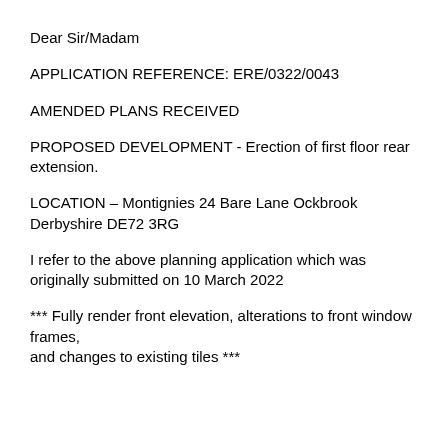Dear Sir/Madam
APPLICATION REFERENCE: ERE/0322/0043
AMENDED PLANS RECEIVED
PROPOSED DEVELOPMENT - Erection of first floor rear extension.
LOCATION – Montignies 24 Bare Lane Ockbrook Derbyshire DE72 3RG
I refer to the above planning application which was originally submitted on 10 March 2022
*** Fully render front elevation, alterations to front window frames, and changes to existing tiles ***